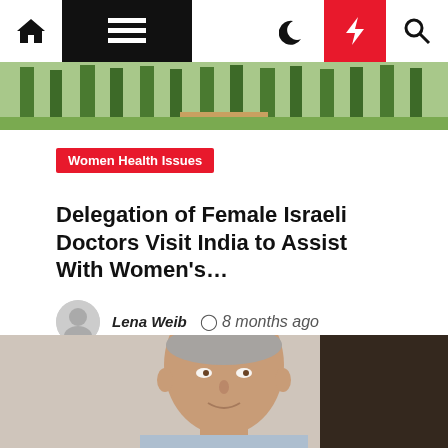Navigation bar with home, menu, moon, bolt, and search icons
[Figure (photo): Outdoor garden/park scene with trees and path, partially visible at top of article card]
Women Health Issues
Delegation of Female Israeli Doctors Visit India to Assist With Women's...
Lena Weib  8 months ago
[Figure (photo): Close-up portrait of an older man with grey hair, blurred background, wearing light blue shirt]